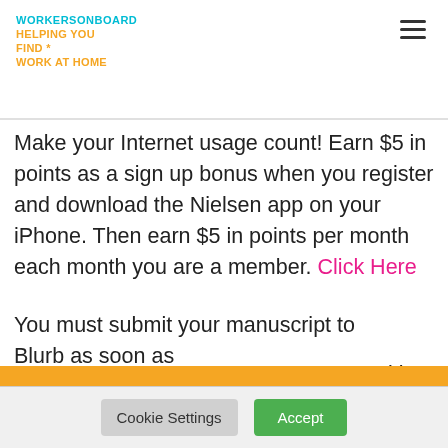WORKERSONBOARD
HELPING YOU FIND * WORK AT HOME
Make your Internet usage count! Earn $5 in points as a sign up bonus when you register and download the Nielsen app on your iPhone. Then earn $5 in points per month each month you are a member. Click Here
You must submit your manuscript to Blurb as soon as
[Figure (screenshot): Orange modal popup with title 'Work from Home Jobs', email input field with blue send button, close X button, and privacy note 'your information with anyone']
Cookie Settings  Accept